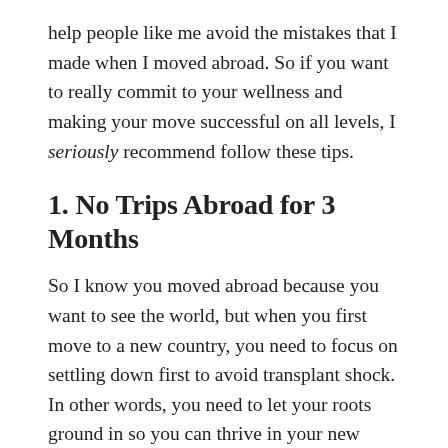help people like me avoid the mistakes that I made when I moved abroad. So if you want to really commit to your wellness and making your move successful on all levels, I seriously recommend follow these tips.
1. No Trips Abroad for 3 Months
So I know you moved abroad because you want to see the world, but when you first move to a new country, you need to focus on settling down first to avoid transplant shock. In other words, you need to let your roots ground in so you can thrive in your new home long term. Taking trips to other countries right away will not only be disorienting, but will also get in the way of forming an intimate relationship with your new city. Depending on your visa situation, you may not even be able to leave the country for the first few months anyway. Focus on really getting